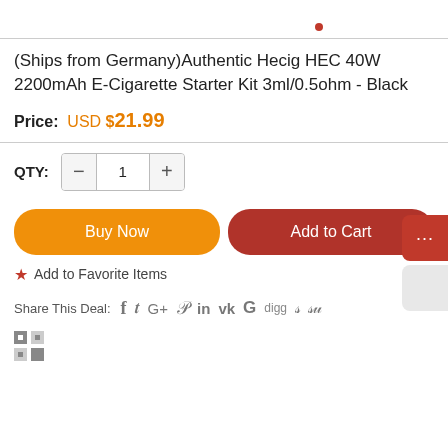(Ships from Germany)Authentic Hecig HEC 40W 2200mAh E-Cigarette Starter Kit 3ml/0.5ohm - Black
Price: USD $21.99
QTY: 1
Buy Now
Add to Cart
★ Add to Favorite Items
Share This Deal: